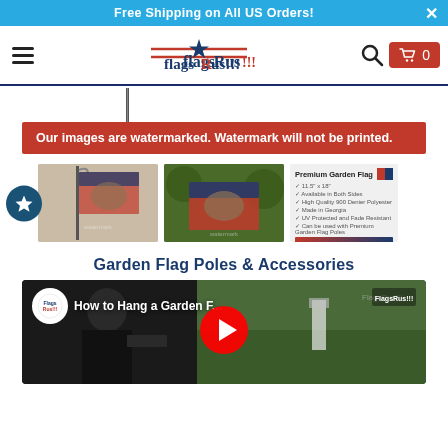Free Shipping on All US Orders!
[Figure (screenshot): FlagsRus!!! website navigation bar with hamburger menu, logo, search icon and cart button showing 0 items]
[Figure (photo): Flagpole vertical black pole image]
Our images are watermarked. Watermark will not be printed.
[Figure (photo): Three product thumbnails: garden flag on pole, garden flag close-up, and product info card for Premium Garden Flag]
Garden Flag Poles & Accessories
[Figure (screenshot): YouTube video thumbnail: How to Hang a Garden F... with FlagsRus logo and play button]